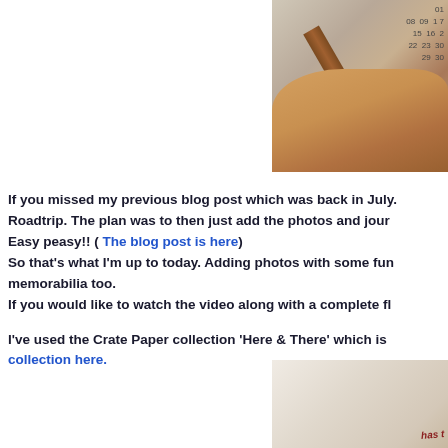[Figure (photo): Photo of a hand holding a calendar with wooden frame, partial view showing calendar numbers]
If you missed my previous blog post which was back in July. Roadtrip. The plan was to then just add the photos and jour... Easy peasy!! ( The blog post is here) So that's what I'm up to today. Adding photos with some fun... memorabilia too. If you would like to watch the video along with a complete fl...
I've used the Crate Paper collection 'Here & There' which is... collection here.
[Figure (photo): Partial photo showing journaling/scrapbook page with red handwriting text]